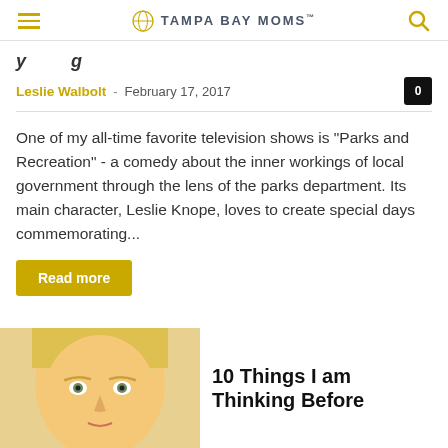TAMPA BAY MOMS
Leslie Walbolt - February 17, 2017
One of my all-time favorite television shows is "Parks and Recreation" - a comedy about the inner workings of local government through the lens of the parks department. Its main character, Leslie Knope, loves to create special days commemorating...
Read more
10 Things I am Thinking Before